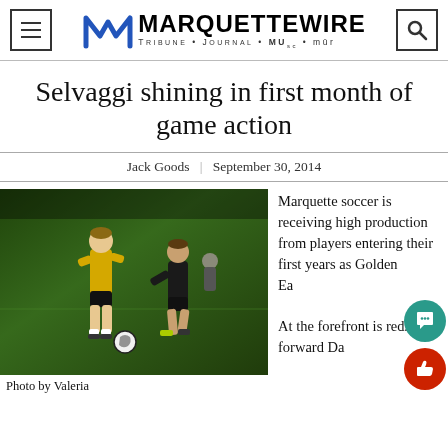Marquette Wire — Tribune • Journal • MUsc • mur
Selvaggi shining in first month of game action
Jack Goods | September 30, 2014
[Figure (photo): Soccer players on a field at night; one player in yellow and black dribbles a ball while another in black defends]
Photo by Valeria
Marquette soccer is receiving high production from players entering their first years as Golden Ea... At the forefront is redshirt forward Da...